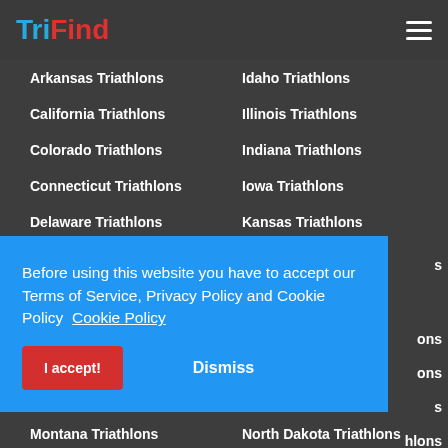TriFind
Arkansas Triathlons
Idaho Triathlons
California Triathlons
Illinois Triathlons
Colorado Triathlons
Indiana Triathlons
Connecticut Triathlons
Iowa Triathlons
Delaware Triathlons
Kansas Triathlons
District of Columbia
Kentucky Triathlons
Before using this website you have to accept our Terms of Service, Privacy Policy and Cookie Policy  Cookie Policy
I accept!
Dismiss
Montana Triathlons
North Dakota Triathlons